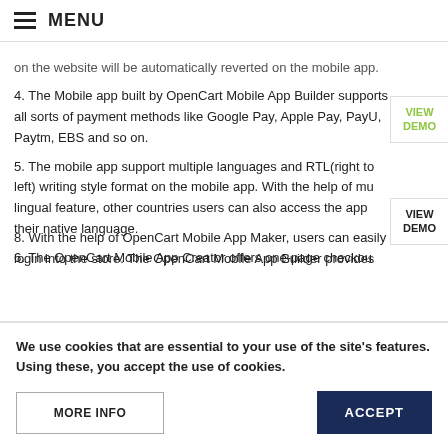≡ MENU
on the website will be automatically reverted on the mobile app.
4. The Mobile app built by OpenCart Mobile App Builder supports all sorts of payment methods like Google Pay, Apple Pay, PayU, Paytm, EBS and so on.
5. The mobile app support multiple languages and RTL(right to left) writing style format on the mobile app. With the help of mu lingual feature, other countries users can also access the app their native language.
6. The OpenCart Mobile App Creator offers one-page checkout...
8. With the help of OpenCart Mobile App Maker, users can easily login into the store. The OpenCart Mobile App Builder provides
We use cookies that are essential to your use of the site's features. Using these, you accept the use of cookies.
MORE INFO
ACCEPT